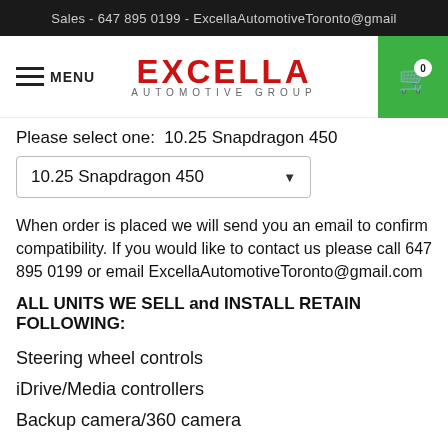Sales - 647 895 0199 - ExcellaAutomotiveToronto@gmail
[Figure (logo): Excella Automotive Group logo with red bold EXCELLA text and gray AUTOMOTIVE GROUP subtext, navigation menu icon on left, green shopping cart with 0 badge on right]
Please select one:  10.25 Snapdragon 450
10.25 Snapdragon 450 (dropdown)
When order is placed we will send you an email to confirm compatibility. If you would like to contact us please call 647 895 0199 or email ExcellaAutomotiveToronto@gmail.com
ALL UNITS WE SELL and INSTALL RETAIN FOLLOWING:
Steering wheel controls
iDrive/Media controllers
Backup camera/360 camera